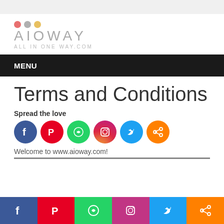[Figure (logo): AIOWAY - All In One Way logo with three colored dots (pink, gray, yellow) above stylized text]
MENU
Terms and Conditions
Spread the love
[Figure (infographic): Row of social media share buttons: Facebook, Pinterest, WhatsApp, Instagram, Twitter, Share]
Welcome to www.aioway.com!
[Figure (infographic): Bottom social media bar with Facebook, Pinterest, WhatsApp, Instagram, Twitter, Share icons]